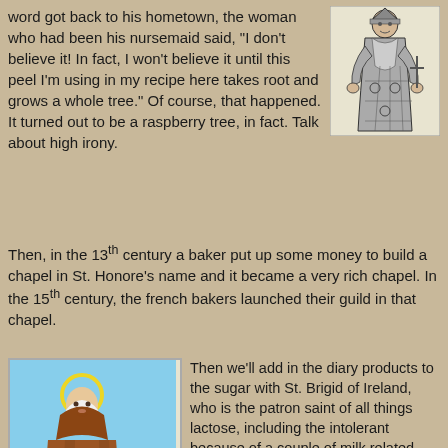word got back to his hometown, the woman who had been his nursemaid said, "I don't believe it! In fact, I won't believe it until this peel I'm using in my recipe here takes root and grows a whole tree." Of course, that happened. It turned out to be a raspberry tree, in fact. Talk about high irony.
[Figure (illustration): Black and white illustration of a robed medieval figure, possibly a bishop or saint, in formal attire]
Then, in the 13th century a baker put up some money to build a chapel in St. Honore's name and it became a very rich chapel. In the 15th century, the french bakers launched their guild in that chapel.
[Figure (illustration): Color illustration of St. Brigid of Ireland, a woman in brown robes with a halo, holding a staff and a book, standing in a green pastoral landscape with a cow in the background]
Then we'll add in the diary products to the sugar with St. Brigid of Ireland, who is the patron saint of all things lactose, including the intolerant because of a couple of milk related miraculous. One was when a beggar asked her for a drink of water and the water she poured